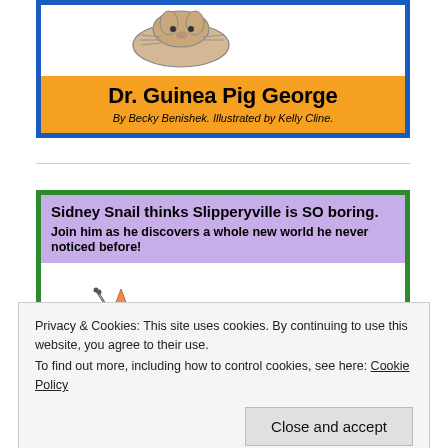[Figure (illustration): Guinea pig illustration at top of book cover]
Dr. Guinea Pig George
By Becky Benishek. Illustrated by Kelly Cline.
Sidney Snail thinks Slipperyville is SO boring.
Join him as he discovers a whole new world he never noticed before!
[Figure (illustration): Two snail illustrations on mushroom and leaf]
Privacy & Cookies: This site uses cookies. By continuing to use this website, you agree to their use.
To find out more, including how to control cookies, see here: Cookie Policy
Close and accept
[Figure (illustration): Partial snail illustrations at bottom of page]